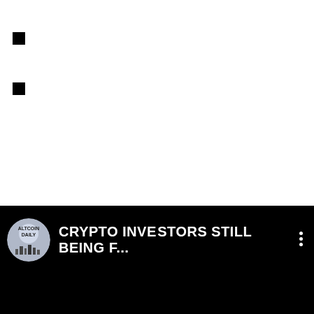[Figure (other): Two small black squares on white background, appearing as list bullet markers or navigation elements]
[Figure (screenshot): YouTube video bar with Altcoin Daily channel logo (circular, showing city skyline), video title 'CRYPTO INVESTORS STILL BEING F...' and three-dot menu icon on black background]